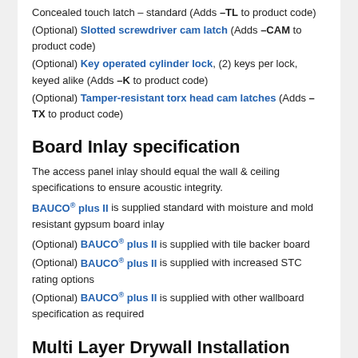Concealed touch latch – standard (Adds –TL to product code)
(Optional) Slotted screwdriver cam latch (Adds –CAM to product code)
(Optional) Key operated cylinder lock, (2) keys per lock, keyed alike (Adds –K to product code)
(Optional) Tamper-resistant torx head cam latches (Adds –TX to product code)
Board Inlay specification
The access panel inlay should equal the wall & ceiling specifications to ensure acoustic integrity.
BAUCO® plus II is supplied standard with moisture and mold resistant gypsum board inlay
(Optional) BAUCO® plus II is supplied with tile backer board
(Optional) BAUCO® plus II is supplied with increased STC rating options
(Optional) BAUCO® plus II is supplied with other wallboard specification as required
Multi Layer Drywall Installation
The BAUCO® plus II access panel can be installed in a wall or ceiling